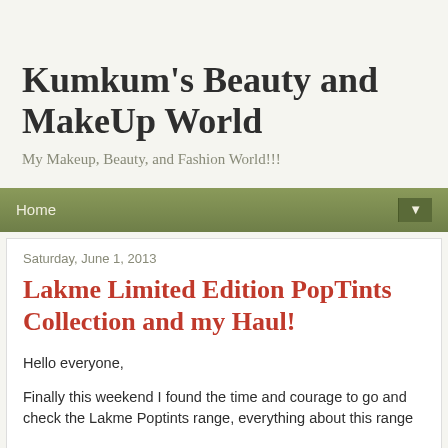Kumkum's Beauty and MakeUp World
My Makeup, Beauty, and Fashion World!!!
Home ▼
Saturday, June 1, 2013
Lakme Limited Edition PopTints Collection and my Haul!
Hello everyone,
Finally this weekend I found the time and courage to go and check the Lakme Poptints range, everything about this range